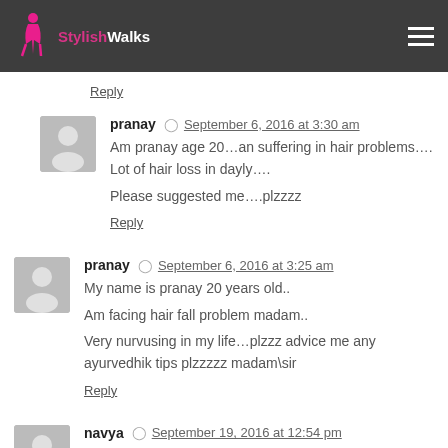StylishWalks
Reply
pranay  September 6, 2016 at 3:30 am
Am pranay age 20…an suffering in hair problems…. Lot of hair loss in dayly….
Please suggested me….plzzzz
Reply
pranay  September 6, 2016 at 3:25 am
My name is pranay 20 years old..
Am facing hair fall problem madam..
Very nurvusing in my life…plzzz advice me any ayurvedhik tips plzzzzz madam\sir
Reply
navya  September 19, 2016 at 12:54 pm
Hi